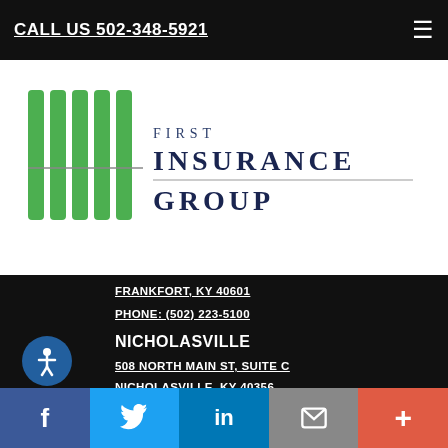CALL US 502-348-5921
[Figure (logo): First Insurance Group logo with green vertical bar stripes and company name in dark blue serif font]
FRANKFORT, KY 40601
PHONE: (502) 223-5100
NICHOLASVILLE
508 NORTH MAIN ST, SUITE C
NICHOLASVILLE, KY 40356
PHONE: (859) 885-9454
DANVILLE
811 S FOURTH STREET
DANVILLE, KY 40422
f  Twitter  in  Email  +